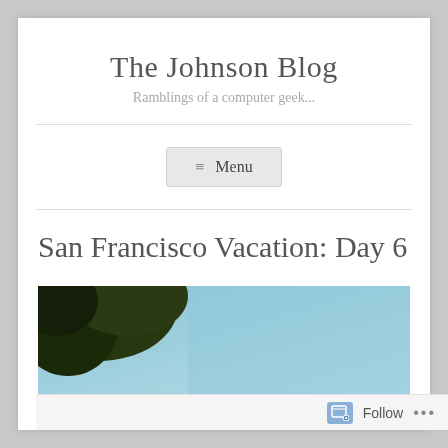The Johnson Blog
Ramblings of a computer geek...
≡ Menu
San Francisco Vacation: Day 6
[Figure (photo): Outdoor photo showing dark tree silhouette in upper left with blue sky background]
Follow ...